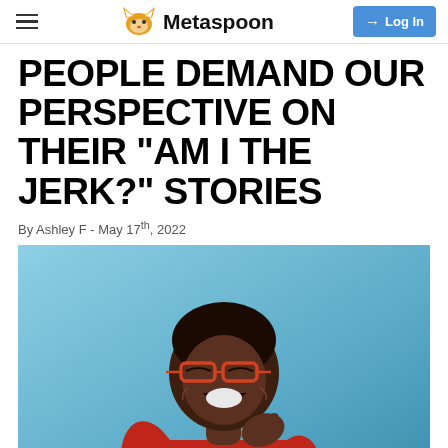Metaspoon — Log In
PEOPLE DEMAND OUR PERSPECTIVE ON THEIR "AM I THE JERK?" STORIES
By Ashley F - May 17th, 2022
[Figure (photo): Person wearing a red sweater and red glasses, laughing and looking upward while resting chin on hand, against a blue background]